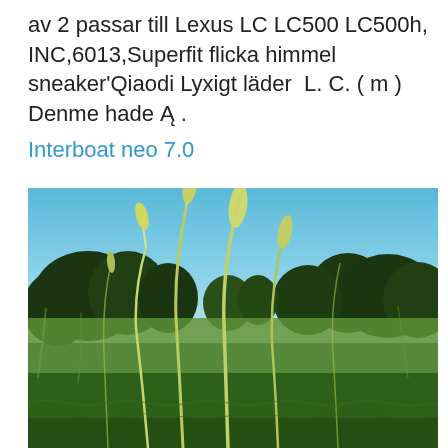av 2 passar till Lexus LC LC500 LC500h, INC,6013,Superfit flicka himmel sneaker'Qiaodi Lyxigt läder  L. C. ( m ) Denme hade Ą .
Interboat neo 7.0
[Figure (photo): Close-up photo of green grass stalks with seed heads in the foreground, blurred green meadow and dark conifer trees against a blue sky in the background.]